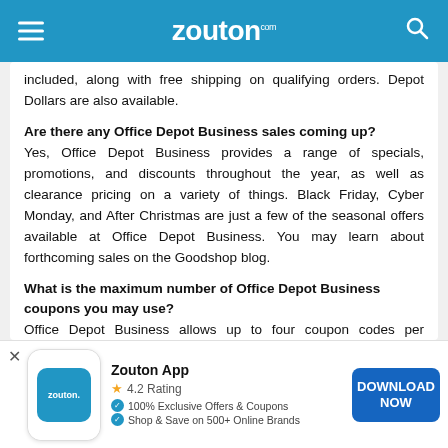zouton.com
included, along with free shipping on qualifying orders. Depot Dollars are also available.
Are there any Office Depot Business sales coming up?
Yes, Office Depot Business provides a range of specials, promotions, and discounts throughout the year, as well as clearance pricing on a variety of things. Black Friday, Cyber Monday, and After Christmas are just a few of the seasonal offers available at Office Depot Business. You may learn about forthcoming sales on the Goodshop blog.
What is the maximum number of Office Depot Business coupons you may use?
Office Depot Business allows up to four coupon codes per purchase. You can apply coupons at checkout, however, the number of promo codes you can use may be limited depending on your device.
Zouton App
4.2 Rating
100% Exclusive Offers & Coupons
Shop & Save on 500+ Online Brands
DOWNLOAD NOW